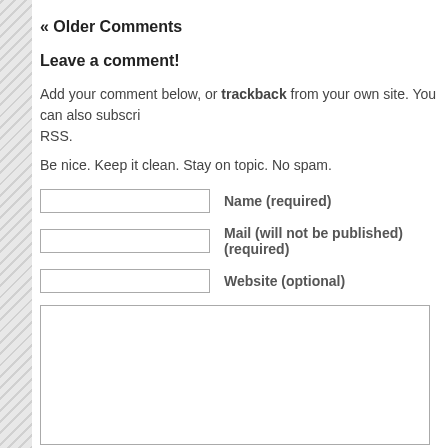« Older Comments
Leave a comment!
Add your comment below, or trackback from your own site. You can also subscri RSS.
Be nice. Keep it clean. Stay on topic. No spam.
Name (required)
Mail (will not be published) (required)
Website (optional)